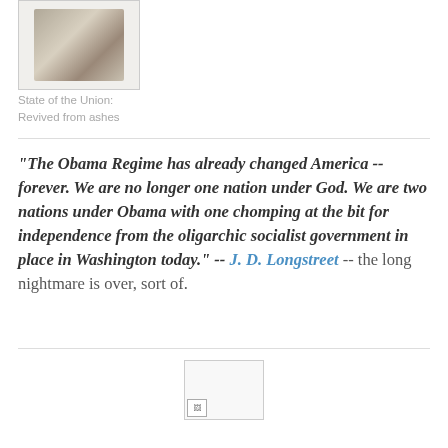[Figure (illustration): A small monochrome illustration, appears to be a metallic or stone object, rendered in grayscale on white background.]
State of the Union:
Revived from ashes
"The Obama Regime has already changed America -- forever. We are no longer one nation under God. We are two nations under Obama with one chomping at the bit for independence from the oligarchic socialist government in place in Washington today." -- J. D. Longstreet -- the long nightmare is over, sort of.
[Figure (other): Broken/missing image placeholder]